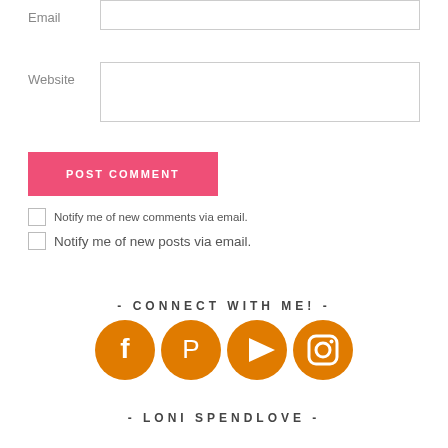Email
Website
POST COMMENT
Notify me of new comments via email.
Notify me of new posts via email.
- CONNECT WITH ME! -
[Figure (infographic): Four orange circular social media icons: Facebook, Pinterest, YouTube/Play, Instagram]
- LONI SPENDLOVE -